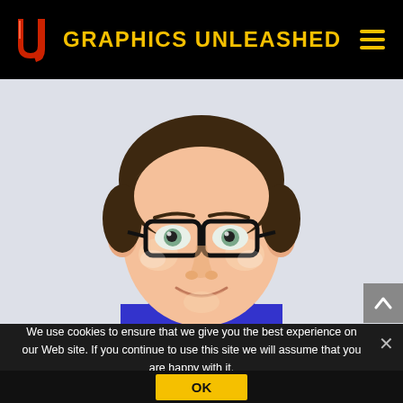GRAPHICS UNLEASHED
[Figure (illustration): Cartoon/vector illustration of a man with dark hair, black-rimmed glasses, wearing a blue shirt, smiling, on a light lavender background]
We use cookies to ensure that we give you the best experience on our Web site. If you continue to use this site we will assume that you are happy with it.
OK